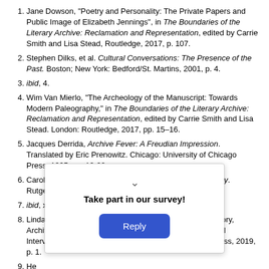Jane Dowson, "Poetry and Personality: The Private Papers and Public Image of Elizabeth Jennings", in The Boundaries of the Literary Archive: Reclamation and Representation, edited by Carrie Smith and Lisa Stead, Routledge, 2017, p. 107.
Stephen Dilks, et al. Cultural Conversations: The Presence of the Past. Boston; New York: Bedford/St. Martins, 2001, p. 4.
ibid, 4.
Wim Van Mierlo, "The Archeology of the Manuscript: Towards Modern Paleography," in The Boundaries of the Literary Archive: Reclamation and Representation, edited by Carrie Smith and Lisa Stead. London: Routledge, 2017, pp. 15–16.
Jacques Derrida, Archive Fever: A Freudian Impression. Translated by Eric Prenowitz. Chicago: University of Chicago Press, 1995, pp. 19-20.
Carolyn Steedman. Dust: The Archive and Cultural History. Rutgers University Press, 2002, x.
ibid, xi.
Linda Anderson, et al., editors. "Introduction: Poetry, Theory, Archives." The Contemporary Poetry Archive: Essays and Interventions. Edinburgh: Edinburgh University Press, 2019, p. 1.
Helen Taylor, "Who Will Speak for Archives Now?", in The Boundaries of the Literary Archive, edited by Carrie Smith and...
Carolyn Steedman. Dust: The Archive and Cultural History.